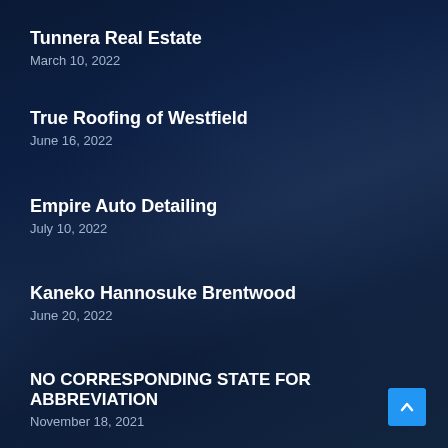Tunnera Real Estate
March 10, 2022
True Roofing of Westfield
June 16, 2022
Empire Auto Detailing
July 10, 2022
Kaneko Hannosuke Brentwood
June 20, 2022
NO CORRESPONDING STATE FOR ABBREVIATION
November 18, 2021